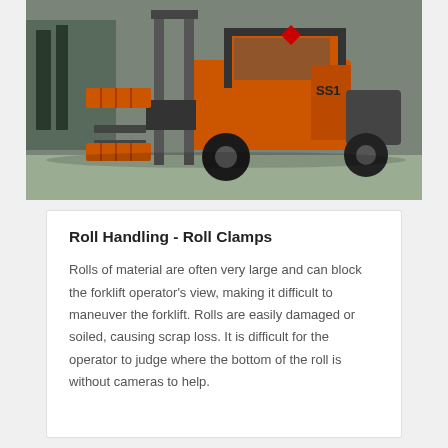[Figure (photo): An orange forklift with roll clamps attached, labeled SS1, viewed from the side in an industrial/warehouse setting.]
Roll Handling - Roll Clamps
Rolls of material are often very large and can block the forklift operator’s view, making it difficult to maneuver the forklift. Rolls are easily damaged or soiled, causing scrap loss. It is difficult for the operator to judge where the bottom of the roll is without cameras to help.